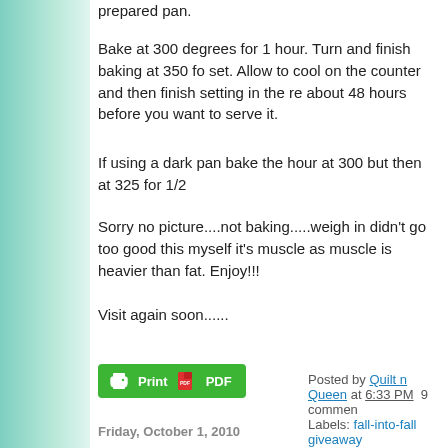prepared pan.
Bake at 300 degrees for 1 hour. Turn and finish baking at 350 fo set. Allow to cool on the counter and then finish setting in the re about 48 hours before you want to serve it.
If using a dark pan bake the hour at 300 but then at 325 for 1/2
Sorry no picture....not baking.....weigh in didn't go too good this myself it's muscle as muscle is heavier than fat. Enjoy!!!
Visit again soon......
[Figure (other): Print / PDF button]
Posted by Quilt n Queen at 6:33 PM  9 commen Labels: fall-into-fall giveaway
Friday, October 1, 2010
Fall-into-fall Giveaway
Thank you for visiting.........
This post was edited Friday afternoon October 1st.....I've d